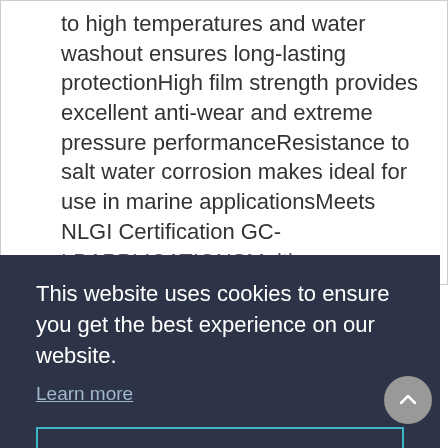to high temperatures and water washout ensures long-lasting protectionHigh film strength provides excellent anti-wear and extreme pressure performanceResistance to salt water corrosion makes ideal for use in marine applicationsMeets NLGI Certification GC-LBAPPLICATIONSMulti-purpose grease can be used for most heavy-duty and light-duty applications
This website uses cookies to ensure you get the best experience on our website.
Learn more
Got it!